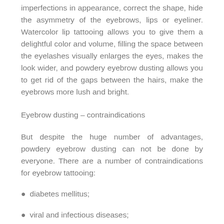imperfections in appearance, correct the shape, hide the asymmetry of the eyebrows, lips or eyeliner. Watercolor lip tattooing allows you to give them a delightful color and volume, filling the space between the eyelashes visually enlarges the eyes, makes the look wider, and powdery eyebrow dusting allows you to get rid of the gaps between the hairs, make the eyebrows more lush and bright.
Eyebrow dusting – contraindications
But despite the huge number of advantages, powdery eyebrow dusting can not be done by everyone. There are a number of contraindications for eyebrow tattooing:
diabetes mellitus;
viral and infectious diseases;